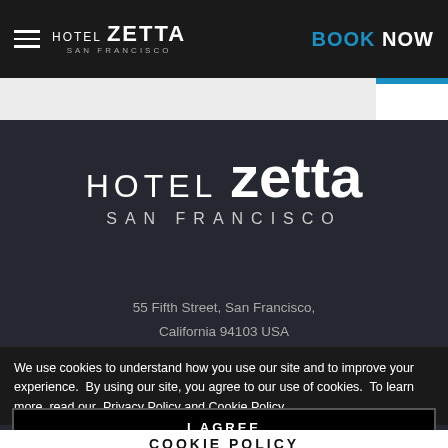HOTEL zetta SAN FRANCISCO | BOOK NOW
[Figure (logo): Hotel Zetta San Francisco logo — large centered white text on dark background with HOTEL in light weight and zetta in bold]
55 Fifth Street, San Francisco, California 94103 USA
Phone: +1 415 543 8555
Reservations: +1 888 720 7004
We use cookies to understand how you use our site and to improve your experience.  By using our site, you agree to our use of cookies.  To learn more, read our  Privacy Policy and Cookie Policy.
I AGREE
COOKIE POLICY